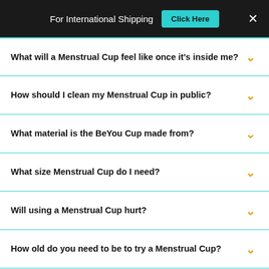For International Shipping   Click Here   ×
What will a Menstrual Cup feel like once it's inside me?
How should I clean my Menstrual Cup in public?
What material is the BeYou Cup made from?
What size Menstrual Cup do I need?
Will using a Menstrual Cup hurt?
How old do you need to be to try a Menstrual Cup?